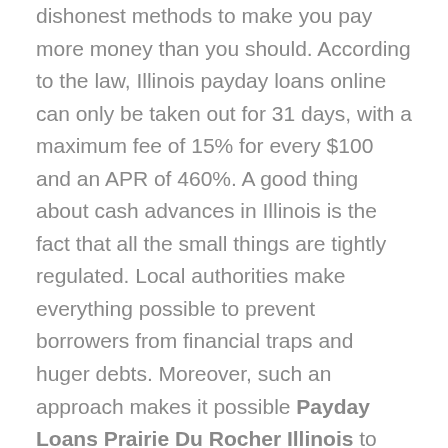dishonest methods to make you pay more money than you should. According to the law, Illinois payday loans online can only be taken out for 31 days, with a maximum fee of 15% for every $100 and an APR of 460%. A good thing about cash advances in Illinois is the fact that all the small things are tightly regulated. Local authorities make everything possible to prevent borrowers from financial traps and huger debts. Moreover, such an approach makes it possible Payday Loans Prairie Du Rocher Illinois to reduce the risk of illegal actions from unfair lenders. In other words, we may say that payday loans in Illinois are safe to apply. The guaranteed loans are the loans that are being provided by many companies in Prairie du Rocher, IL online. When you apply for loans online, your lender will explain the terms and conditions to follow. If you pay on time, you will be guaranteed a successful loan that lets